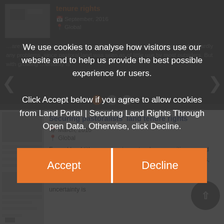[Figure (screenshot): Website screenshot showing a cookie consent modal overlay on the Land Portal website. The modal has text explaining cookie usage and two orange buttons labelled Accept and Decline. Behind the modal, article cards are visible about pastoralists land tenure rights. A carousel with dots and arrows is visible, plus a scroll-to-top button.]
We use cookies to analyse how visitors use our website and to help us provide the best possible experience for users. Click Accept below if you agree to allow cookies from Land Portal | Securing Land Rights Through Open Data. Otherwise, click Decline.
Accept
Decline
Securing pastoralists' land tenure rights
March, 2016
Global
Formal land titles are rare in pastoral communities around the world. In the past, this presented hardly any problems, since pastoral land was seen as of little use by most outsiders. But with growing competition for areas legal uncertainty is